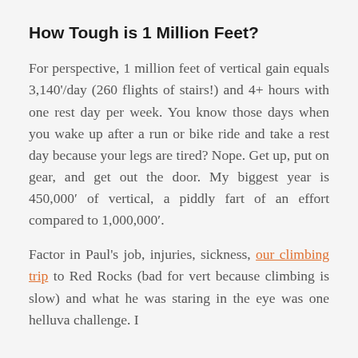How Tough is 1 Million Feet?
For perspective, 1 million feet of vertical gain equals 3,140'/day (260 flights of stairs!) and 4+ hours with one rest day per week. You know those days when you wake up after a run or bike ride and take a rest day because your legs are tired? Nope. Get up, put on gear, and get out the door. My biggest year is 450,000' of vertical, a piddly fart of an effort compared to 1,000,000'.
Factor in Paul's job, injuries, sickness, our climbing trip to Red Rocks (bad for vert because climbing is slow) and what he was staring in the eye was one helluva challenge. I